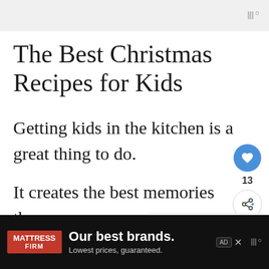The Best Christmas Recipes for Kids
Getting kids in the kitchen is a great thing to do.
It creates the best memories tha...
[Figure (screenshot): Advertisement bar at bottom: MATTRESS FIRM logo, 'Our best brands. Lowest prices, guaranteed.']